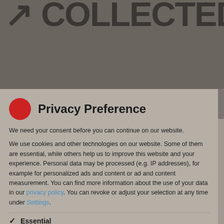[Figure (logo): Partial logo text reading 'COLLECTED' with arrow icon, dark text on grey background]
Privacy Preference
We need your consent before you can continue on our website.
We use cookies and other technologies on our website. Some of them are essential, while others help us to improve this website and your experience. Personal data may be processed (e.g. IP addresses), for example for personalized ads and content or ad and content measurement. You can find more information about the use of your data in our privacy policy. You can revoke or adjust your selection at any time under Settings.
Essential